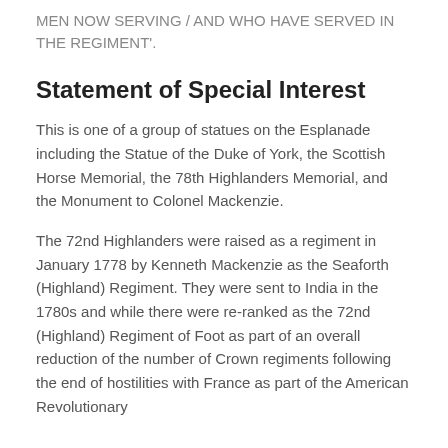MEN NOW SERVING / AND WHO HAVE SERVED IN THE REGIMENT'.
Statement of Special Interest
This is one of a group of statues on the Esplanade including the Statue of the Duke of York, the Scottish Horse Memorial, the 78th Highlanders Memorial, and the Monument to Colonel Mackenzie.
The 72nd Highlanders were raised as a regiment in January 1778 by Kenneth Mackenzie as the Seaforth (Highland) Regiment. They were sent to India in the 1780s and while there were re-ranked as the 72nd (Highland) Regiment of Foot as part of an overall reduction of the number of Crown regiments following the end of hostilities with France as part of the American Revolutionary